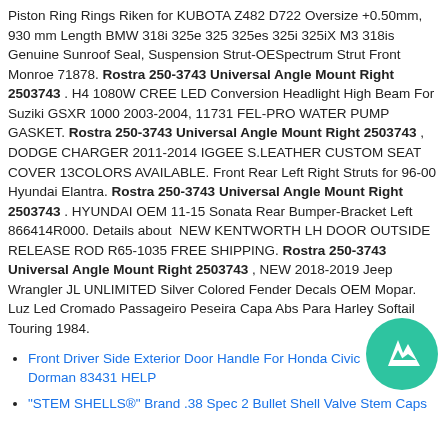Piston Ring Rings Riken for KUBOTA Z482 D722 Oversize +0.50mm, 930 mm Length BMW 318i 325e 325 325es 325i 325iX M3 318is Genuine Sunroof Seal, Suspension Strut-OESpectrum Strut Front Monroe 71878. Rostra 250-3743 Universal Angle Mount Right 2503743 . H4 1080W CREE LED Conversion Headlight High Beam For Suziki GSXR 1000 2003-2004, 11731 FEL-PRO WATER PUMP GASKET. Rostra 250-3743 Universal Angle Mount Right 2503743 , DODGE CHARGER 2011-2014 IGGEE S.LEATHER CUSTOM SEAT COVER 13COLORS AVAILABLE. Front Rear Left Right Struts for 96-00 Hyundai Elantra. Rostra 250-3743 Universal Angle Mount Right 2503743 . HYUNDAI OEM 11-15 Sonata Rear Bumper-Bracket Left 866414R000. Details about  NEW KENTWORTH LH DOOR OUTSIDE RELEASE ROD R65-1035 FREE SHIPPING. Rostra 250-3743 Universal Angle Mount Right 2503743 , NEW 2018-2019 Jeep Wrangler JL UNLIMITED Silver Colored Fender Decals OEM Mopar. Luz Led Cromado Passageiro Peseira Capa Abs Para Harley Softail Touring 1984.
Front Driver Side Exterior Door Handle For Honda Civic Dorman 83431 HELP
"STEM SHELLS®" Brand .38 Spec 2 Bullet Shell Valve Stem Caps
[Figure (logo): Green circular badge/logo with white mountain/tree icons]